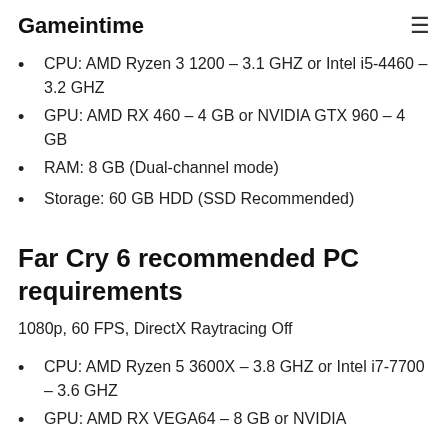Gameintime
CPU: AMD Ryzen 3 1200 – 3.1 GHZ or Intel i5-4460 – 3.2 GHZ
GPU: AMD RX 460 – 4 GB or NVIDIA GTX 960 – 4 GB
RAM: 8 GB (Dual-channel mode)
Storage: 60 GB HDD (SSD Recommended)
Far Cry 6 recommended PC requirements
1080p, 60 FPS, DirectX Raytracing Off
CPU: AMD Ryzen 5 3600X – 3.8 GHZ or Intel i7-7700 – 3.6 GHZ
GPU: AMD RX VEGA64 – 8 GB or NVIDIA